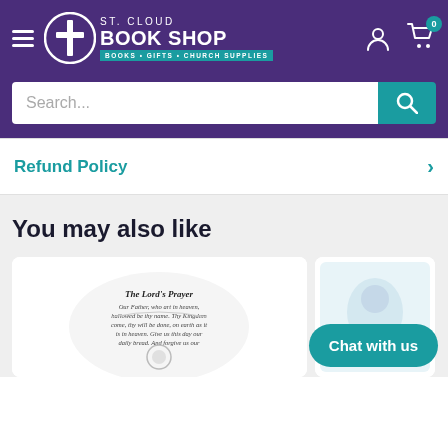ST. CLOUD BOOK SHOP — BOOKS • GIFTS • CHURCH SUPPLIES
Search...
Refund Policy
You may also like
[Figure (screenshot): Product card showing The Lord's Prayer necklace with pendant]
[Figure (screenshot): Partial product card showing a religious image of Sacred Heart of Jesus]
Chat with us